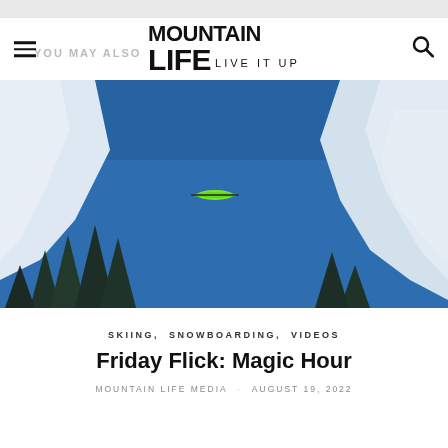[Figure (logo): Mountain Life - Live It Up logo with hamburger menu icon on left and search icon on right]
[Figure (photo): Action photo of a skier jumping between large snow cliffs with a bright blue sky background and pine trees visible below]
SKIING, SNOWBOARDING, VIDEOS
Friday Flick: Magic Hour
MOUNTAIN LIFE MEDIA · AUGUST 19, 2022